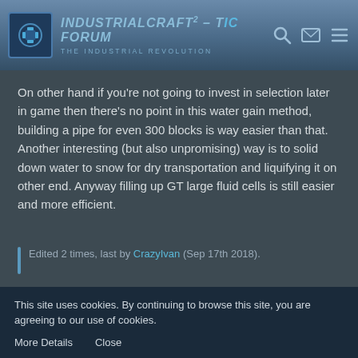IndustrialCraft² - The IC² Forum – The Industrial Revolution
On other hand if you're not going to invest in selection later in game then there's no point in this water gain method, building a pipe for even 300 blocks is way easier than that. Another interesting (but also unpromising) way is to solid down water to snow for dry transportation and liquifying it on other end. Anyway filling up GT large fluid cells is still easier and more efficient.
Edited 2 times, last by CrazyIvan (Sep 17th 2018).
Gus_Smedstad
This site uses cookies. By continuing to browse this site, you are agreeing to our use of cookies. More Details Close